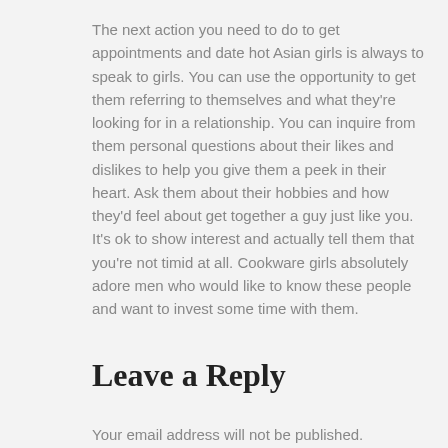The next action you need to do to get appointments and date hot Asian girls is always to speak to girls. You can use the opportunity to get them referring to themselves and what they're looking for in a relationship. You can inquire from them personal questions about their likes and dislikes to help you give them a peek in their heart. Ask them about their hobbies and how they'd feel about get together a guy just like you. It's ok to show interest and actually tell them that you're not timid at all. Cookware girls absolutely adore men who would like to know these people and want to invest some time with them.
Leave a Reply
Your email address will not be published. Required fields are marked *